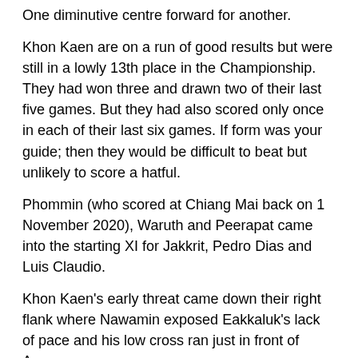One diminutive centre forward for another.
Khon Kaen are on a run of good results but were still in a lowly 13th place in the Championship. They had won three and drawn two of their last five games. But they had also scored only once in each of their last six games. If form was your guide; then they would be difficult to beat but unlikely to score a hatful.
Phommin (who scored at Chiang Mai back on 1 November 2020), Waruth and Peerapat came into the starting XI for Jakkrit, Pedro Dias and Luis Claudio.
Khon Kaen's early threat came down their right flank where Nawamin exposed Eakkaluk's lack of pace and his low cross ran just in front of Anupan.
At the other end Apisit on the left side of the Khon Kaen penalty area shot into the side netting, with an unnecessary assist from Narit's hand.
Seventeen minutes gone and Khon Kaen took the lead. Ratthaphon easily beating Eakkaluk on the right and driving the ball across goal where Seiya made up ground at the far post to launch his diving header past Korraphat. It was a fine finish from Khon Kaen's leading scorer.